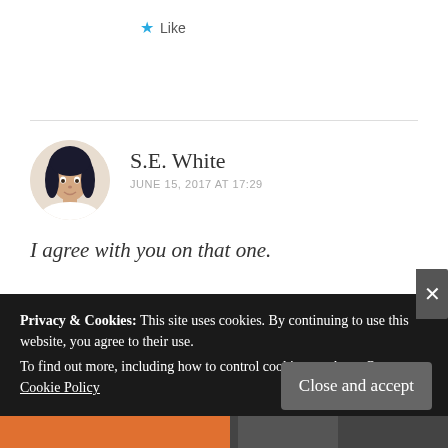★ Like
S.E. White
JUNE 15, 2017 AT 17:29
I agree with you on that one.
★ Like
Reply
Privacy & Cookies: This site uses cookies. By continuing to use this website, you agree to their use.
To find out more, including how to control cookies, see here: Our Cookie Policy
Close and accept